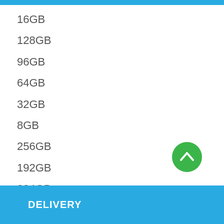16GB
128GB
96GB
64GB
32GB
8GB
256GB
192GB
384GB
512GB
DELIVERY